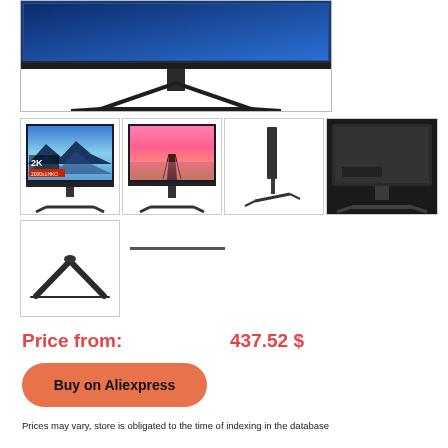[Figure (photo): Large product image of a computer monitor (front/bottom view showing stand) with dark blue screen, on white background]
[Figure (photo): Thumbnail 1: Monitor front view with 2K label, landscape/lake screensaver]
[Figure (photo): Thumbnail 2: Monitor front view showing pink sunset pier wallpaper]
[Figure (photo): Thumbnail 3: Monitor side profile view, very thin bezel]
[Figure (photo): Thumbnail 4: Monitor rear view showing back panel and stand]
[Figure (photo): Thumbnail 5: Monitor stand/base close-up view from above]
Price from:
437.52 $
Buy on Aliexpress
Prices may vary, store is obligated to the time of indexing in the database